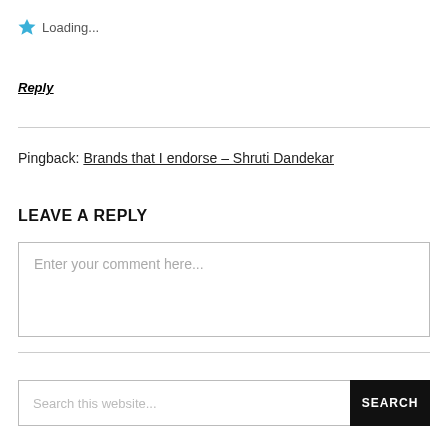★ Loading...
Reply
Pingback: Brands that I endorse – Shruti Dandekar
LEAVE A REPLY
Enter your comment here...
Search this website...
SEARCH